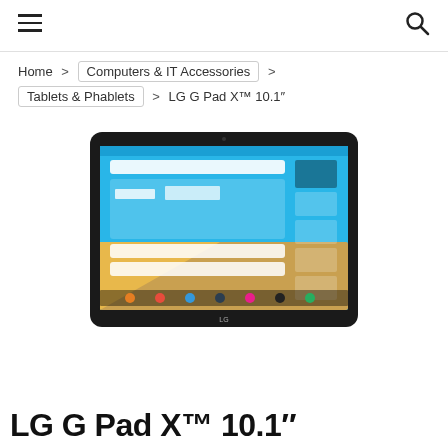Navigation header with hamburger menu and search icon
Home > Computers & IT Accessories > Tablets & Phablets > LG G Pad X™ 10.1"
[Figure (photo): LG G Pad X tablet showing Android home screen with widgets, weather showing 64°F, and app icons]
LG G Pad X™ 10.1"